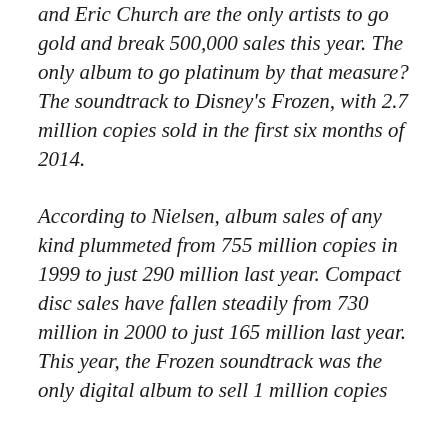and Eric Church are the only artists to go gold and break 500,000 sales this year. The only album to go platinum by that measure? The soundtrack to Disney's Frozen, with 2.7 million copies sold in the first six months of 2014.
According to Nielsen, album sales of any kind plummeted from 755 million copies in 1999 to just 290 million last year. Compact disc sales have fallen steadily from 730 million in 2000 to just 165 million last year. This year, the Frozen soundtrack was the only digital album to sell 1 million copies